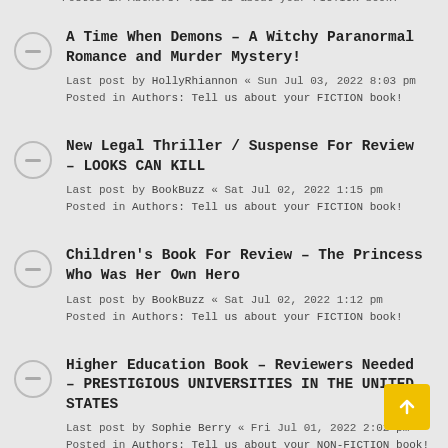Posted in Authors: Tell us about your FICTION book!
A Time When Demons – A Witchy Paranormal Romance and Murder Mystery!
Last post by HollyRhiannon « Sun Jul 03, 2022 8:03 pm
Posted in Authors: Tell us about your FICTION book!
New Legal Thriller / Suspense For Review – LOOKS CAN KILL
Last post by BookBuzz « Sat Jul 02, 2022 1:15 pm
Posted in Authors: Tell us about your FICTION book!
Children's Book For Review – The Princess Who Was Her Own Hero
Last post by BookBuzz « Sat Jul 02, 2022 1:12 pm
Posted in Authors: Tell us about your FICTION book!
Higher Education Book – Reviewers Needed – PRESTIGIOUS UNIVERSITIES IN THE UNITED STATES
Last post by Sophie Berry « Fri Jul 01, 2022 2:02 pm
Posted in Authors: Tell us about your NON-FICTION book!